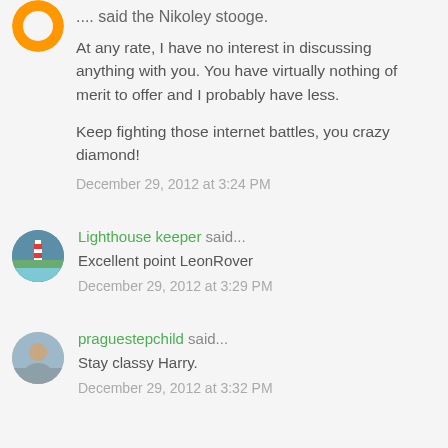[Figure (illustration): Partial orange circular avatar at top left]
.... said the Nikoley stooge.
At any rate, I have no interest in discussing anything with you. You have virtually nothing of merit to offer and I probably have less.
Keep fighting those internet battles, you crazy diamond!
December 29, 2012 at 3:24 PM
[Figure (photo): Circular avatar showing a lighthouse with red and white stripes against a blue sky]
Lighthouse keeper said...
Excellent point LeonRover
December 29, 2012 at 3:29 PM
[Figure (photo): Circular avatar showing a middle-aged man outdoors]
praguestepchild said...
Stay classy Harry.
December 29, 2012 at 3:32 PM